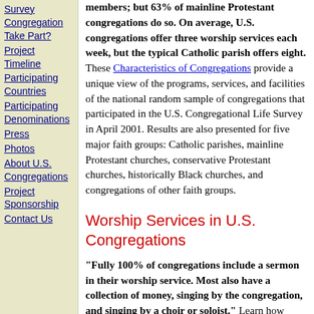Survey Congregation Take Part?
Project Timeline
Participating Countries
Participating Denominations
Press
Photos
About U.S. Congregations
Project Sponsorship
Contact Us
members; but 63% of mainline Protestant congregations do so. On average, U.S. congregations offer three worship services each week, but the typical Catholic parish offers eight. These Characteristics of Congregations provide a unique view of the programs, services, and facilities of the national random sample of congregations that participated in the U.S. Congregational Life Survey in April 2001. Results are also presented for five major faith groups: Catholic parishes, mainline Protestant churches, conservative Protestant churches, historically Black churches, and congregations of other faith groups.
Worship Services in U.S. Congregations
"Fully 100% of congregations include a sermon in their worship service. Most also have a collection of money, singing by the congregation, and singing by a choir or soloist." Learn how worship services are